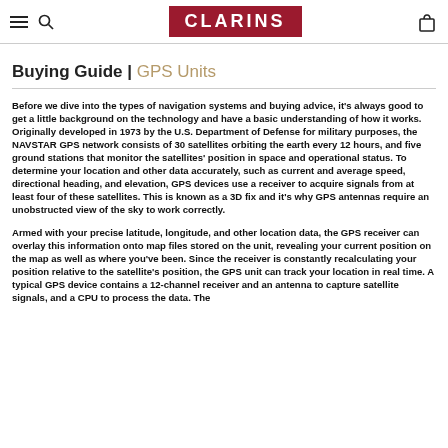CLARINS
Buying Guide | GPS Units
Before we dive into the types of navigation systems and buying advice, it's always good to get a little background on the technology and have a basic understanding of how it works. Originally developed in 1973 by the U.S. Department of Defense for military purposes, the NAVSTAR GPS network consists of 30 satellites orbiting the earth every 12 hours, and five ground stations that monitor the satellites' position in space and operational status. To determine your location and other data accurately, such as current and average speed, directional heading, and elevation, GPS devices use a receiver to acquire signals from at least four of these satellites. This is known as a 3D fix and it's why GPS antennas require an unobstructed view of the sky to work correctly.
Armed with your precise latitude, longitude, and other location data, the GPS receiver can overlay this information onto map files stored on the unit, revealing your current position on the map as well as where you've been. Since the receiver is constantly recalculating your position relative to the satellite's position, the GPS unit can track your location in real time. A typical GPS device contains a 12-channel receiver and an antenna to capture satellite signals, and a CPU to process the data. The